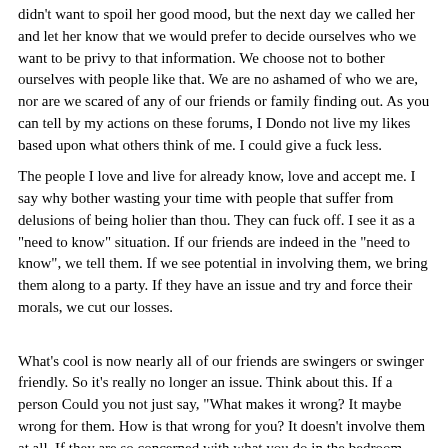didn't want to spoil her good mood, but the next day we called her and let her know that we would prefer to decide ourselves who we want to be privy to that information. We choose not to bother ourselves with people like that. We are no ashamed of who we are, nor are we scared of any of our friends or family finding out. As you can tell by my actions on these forums, I Dondo not live my likes based upon what others think of me. I could give a fuck less.
The people I love and live for already know, love and accept me. I say why bother wasting your time with people that suffer from delusions of being holier than thou. They can fuck off. I see it as a "need to know" situation. If our friends are indeed in the "need to know", we tell them. If we see potential in involving them, we bring them along to a party. If they have an issue and try and force their morals, we cut our losses.
What's cool is now nearly all of our friends are swingers or swinger friendly. So it's really no longer an issue. Think about this. If a person Could you not just say, "What makes it wrong? It maybe wrong for them. How is that wrong for you? It doesn't involve them at all. If they are so concerned with what you do in the bedroom, perhaps they are not basing the friendship on the things that really matter. They are not true friends. Note: Best if viewed with Microsoft Internet Explorer version 7.